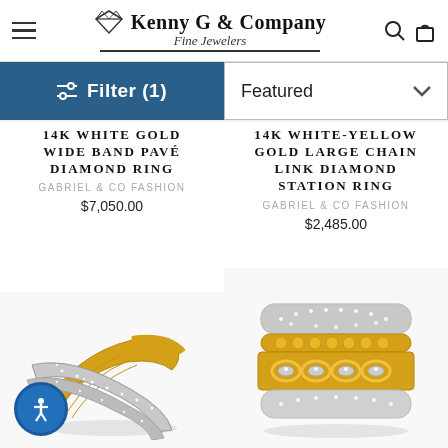Kenny G & Company Fine Jewelers
Filter (1)
Featured
14K WHITE GOLD WIDE BAND PAVÉ DIAMOND RING
GABRIEL & CO FASHION
$7,050.00
14K WHITE-YELLOW GOLD LARGE CHAIN LINK DIAMOND STATION RING
GABRIEL & CO FASHION
$2,485.00
[Figure (photo): 14K white gold wide band pavé diamond ring with yellow gold cross band, showing diamond-encrusted ring]
[Figure (photo): 14K white-yellow gold large chain link diamond station ring, showing stacked wide band with gold beads and chain link design]